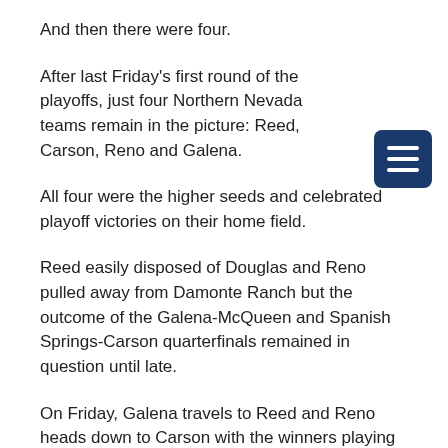And then there were four.
After last Friday's first round of the playoffs, just four Northern Nevada teams remain in the picture: Reed, Carson, Reno and Galena.
All four were the higher seeds and celebrated playoff victories on their home field.
Reed easily disposed of Douglas and Reno pulled away from Damonte Ranch but the outcome of the Galena-McQueen and Spanish Springs-Carson quarterfinals remained in question until late.
On Friday, Galena travels to Reed and Reno heads down to Carson with the winners playing next week for the DI North title. Game on.